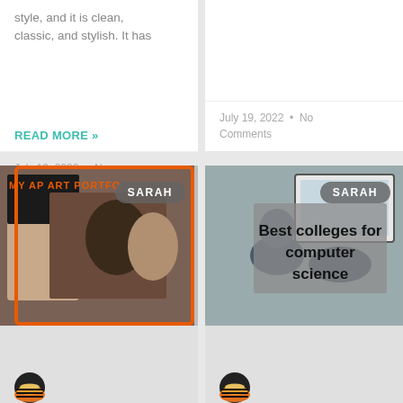style, and it is clean, classic, and stylish. It has
READ MORE »
July 19, 2022  •  No Comments
July 19, 2022  •  No Comments
[Figure (photo): Student holding up AP Art portfolio artwork — a colorful painting with two figures. Orange text overlay reads 'MY AP ART PORTFO' at top left. A 'SARAH' badge in grey is at top right.]
[Figure (photo): Students working at computers in a classroom. Overlaid grey box with bold text: 'Best colleges for computer science'. A 'SARAH' badge in grey is at top right.]